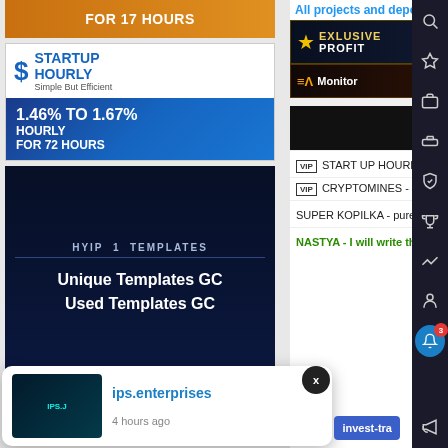[Figure (screenshot): Orange banner: FOR 17 HOURS]
[Figure (screenshot): Startup Hourly banner: Simple But Efficient, 1.46% TO 1.67% HOURLY FOR 72 HOURS]
[Figure (screenshot): HYIP Templates banner: Unique Templates GC Used Templates GC]
[Figure (screenshot): CRYPTO EVOLUTION - cryptoevolution.biz banner]
All projects and deposits
[Figure (screenshot): EXLUSIVE PROFIT banner with gold star]
[Figure (screenshot): AI Monitor banner]
VIP  START UP HOURLY - breaking d
VIP  CRYPTOMINES - from look-sigh
SUPER KOPILKA - pure diamon
NASTYA - I will write the best r
[Figure (screenshot): Notification popup showing ips.enterprises website thumbnail, URL ips.enterprises, 4 hours ago]
invest-tra